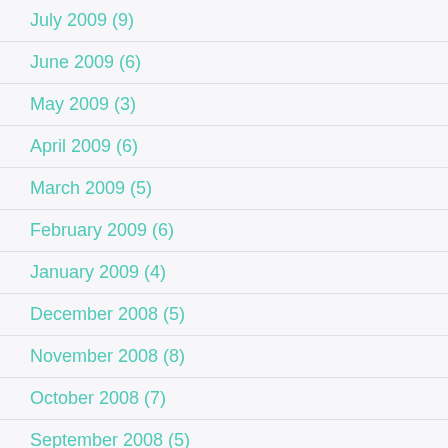July 2009 (9)
June 2009 (6)
May 2009 (3)
April 2009 (6)
March 2009 (5)
February 2009 (6)
January 2009 (4)
December 2008 (5)
November 2008 (8)
October 2008 (7)
September 2008 (5)
August 2008 (21)
July 2008 (10)